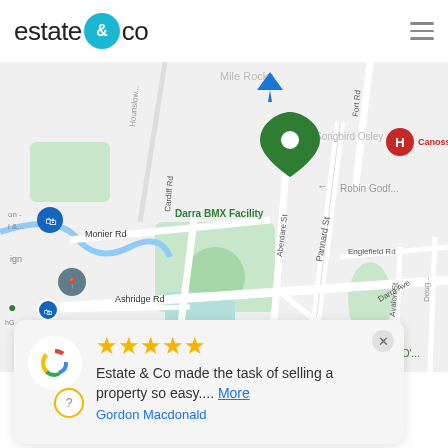estate & co
[Figure (map): Google Maps view showing Darra suburb area in Brisbane, Australia, with Darra BMX Facility, Monier Rd, Cardiff Rd, Ashridge Rd, Pannard St, Aberdare St, Darra Ave locations. A green map pin is placed at Darra BMX Facility. Canossa Private Hospital marker visible in upper right. Google logo in lower left.]
★★★★★ Estate & Co made the task of selling a property so easy.... More
Gordon Macdonald